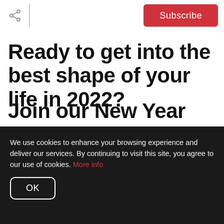[Figure (screenshot): Share icon (network share symbol) in the top-left header area]
Subscribe
Ready to get into the best shape of your life in 2022?
Join our New Year Fitness
We use cookies to enhance your browsing experience and deliver our services. By continuing to visit this site, you agree to our use of cookies. More info
OK